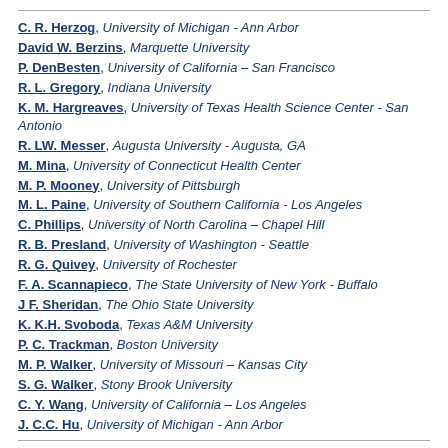C. R. Herzog, University of Michigan - Ann Arbor
David W. Berzins, Marquette University
P. DenBesten, University of California – San Francisco
R. L. Gregory, Indiana University
K. M. Hargreaves, University of Texas Health Science Center - San Antonio
R. LW. Messer, Augusta University - Augusta, GA
M. Mina, University of Connecticut Health Center
M. P. Mooney, University of Pittsburgh
M. L. Paine, University of Southern California - Los Angeles
C. Phillips, University of North Carolina – Chapel Hill
R. B. Presland, University of Washington - Seattle
R. G. Quivey, University of Rochester
F. A. Scannapieco, The State University of New York - Buffalo
J F. Sheridan, The Ohio State University
K. K.H. Svoboda, Texas A&M University
P. C. Trackman, Boston University
M. P. Walker, University of Missouri – Kansas City
S. G. Walker, Stony Brook University
C. Y. Wang, University of California – Los Angeles
J. C.C. Hu, University of Michigan - Ann Arbor
Document Type
Article